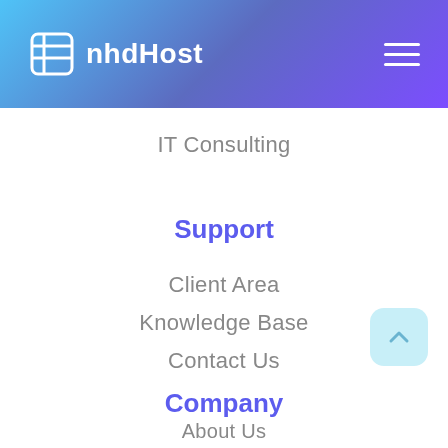nhdHost
IT Consulting
Support
Client Area
Knowledge Base
Contact Us
Company
About Us
Privacy Policy